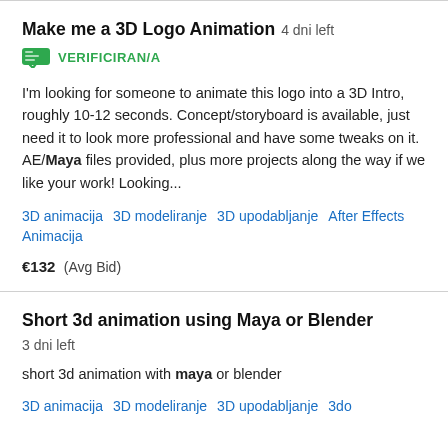Make me a 3D Logo Animation  4 dni left
VERIFICIRAN/A
I'm looking for someone to animate this logo into a 3D Intro, roughly 10-12 seconds. Concept/storyboard is available, just need it to look more professional and have some tweaks on it. AE/Maya files provided, plus more projects along the way if we like your work! Looking...
3D animacija   3D modeliranje   3D upodabljanje   After Effects   Animacija
€132  (Avg Bid)
Short 3d animation using Maya or Blender  3 dni left
short 3d animation with maya or blender
3D animacija   3D modeliranje   3D upodabljanje   3do